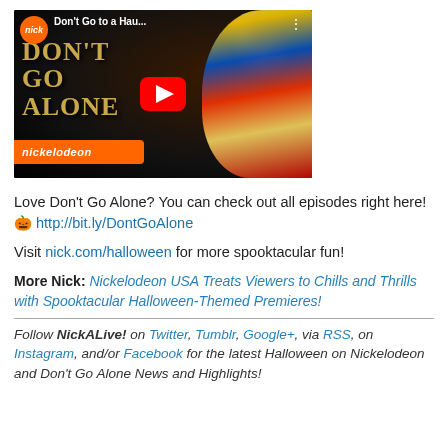[Figure (screenshot): YouTube video thumbnail for Nickelodeon's 'Don't Go to a Hau...' video showing a boy in a clown costume with 'DON'T GO ALONE' text and a YouTube play button overlay, with Nickelodeon branding.]
Love Don't Go Alone? You can check out all episodes right here! 🎃 http://bit.ly/DontGoAlone
Visit nick.com/halloween for more spooktacular fun!
More Nick: Nickelodeon USA Treats Viewers to Chills and Thrills with Spooktacular Halloween-Themed Premieres!
Follow NickALive! on Twitter, Tumblr, Google+, via RSS, on Instagram, and/or Facebook for the latest Halloween on Nickelodeon and Don't Go Alone News and Highlights!